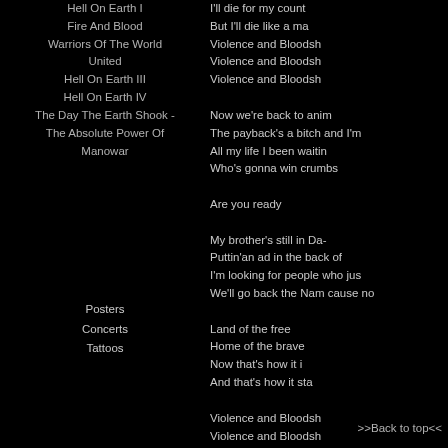Hell On Earth I
Fire And Blood
Warriors Of The World United
Hell On Earth III
Hell On Earth IV
The Day The Earth Shook - The Absolute Power Of Manowar
I'll die for my count
But I'll die like a ma
Violence and Bloodsh
Violence and Bloodsh
Violence and Bloodsh
Now we're back to anim
The payback's a bitch and I'm
All my life I been waitin
Who's gonna win crumbs
Are you ready
Posters
Concerts
Tattoos
My brother's still in Da-
Puttin'an ad in the back of
I'm looking for people who jus
We'll go back the Nam cause no
Land of the free
Home of the brave
Now that's how it i
And that's how it sta
Violence and Bloodsh
Violence and Bloodsh
Violence and Bloodsh
>>Back to top<<